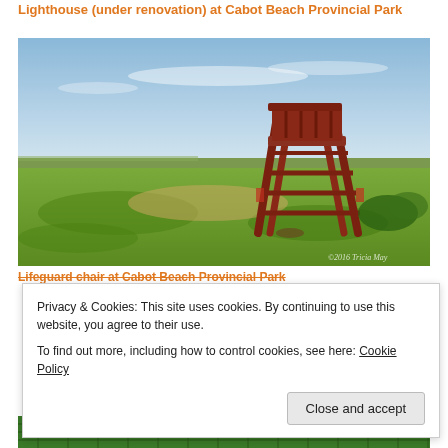Lighthouse (under renovation) at Cabot Beach Provincial Park
[Figure (photo): Outdoor photo of a weathered red wooden lifeguard chair standing in a grassy field under a blue sky, with a flat coastal landscape in the background. Watermark reads '2016 Tricia May'.]
Lifeguard chair at Cabot Beach Provincial Park
Privacy & Cookies: This site uses cookies. By continuing to use this website, you agree to their use.
To find out more, including how to control cookies, see here: Cookie Policy
[Figure (photo): Partial bottom photo showing green netting or fishing nets, cropped.]